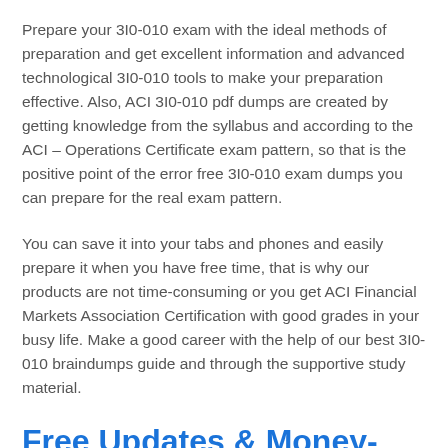Prepare your 3I0-010 exam with the ideal methods of preparation and get excellent information and advanced technological 3I0-010 tools to make your preparation effective. Also, ACI 3I0-010 pdf dumps are created by getting knowledge from the syllabus and according to the ACI – Operations Certificate exam pattern, so that is the positive point of the error free 3I0-010 exam dumps you can prepare for the real exam pattern.
You can save it into your tabs and phones and easily prepare it when you have free time, that is why our products are not time-consuming or you get ACI Financial Markets Association Certification with good grades in your busy life. Make a good career with the help of our best 3I0-010 braindumps guide and through the supportive study material.
Free Updates & Money-Back